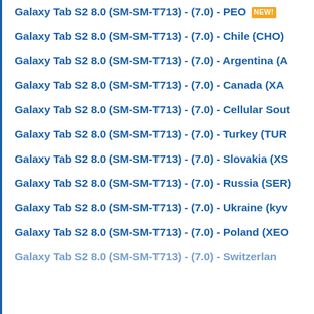Galaxy Tab S2 8.0 (SM-SM-T713) - (7.0) - PEO [NEW!]
Galaxy Tab S2 8.0 (SM-SM-T713) - (7.0) - Chile (CHO)
Galaxy Tab S2 8.0 (SM-SM-T713) - (7.0) - Argentina (A…)
Galaxy Tab S2 8.0 (SM-SM-T713) - (7.0) - Canada (XAC…)
Galaxy Tab S2 8.0 (SM-SM-T713) - (7.0) - Cellular Sout…
Galaxy Tab S2 8.0 (SM-SM-T713) - (7.0) - Turkey (TUR…)
Galaxy Tab S2 8.0 (SM-SM-T713) - (7.0) - Slovakia (XS…)
Galaxy Tab S2 8.0 (SM-SM-T713) - (7.0) - Russia (SER…)
Galaxy Tab S2 8.0 (SM-SM-T713) - (7.0) - Ukraine (kyv…)
Galaxy Tab S2 8.0 (SM-SM-T713) - (7.0) - Poland (XEO…)
Galaxy Tab S2 8.0 (SM-SM-T713) - (7.0) - Switzerlan…